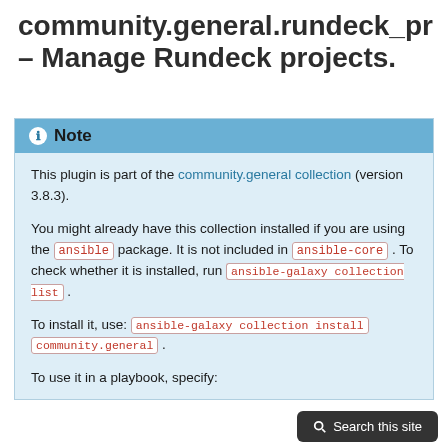community.general.rundeck_pr – Manage Rundeck projects.
This plugin is part of the community.general collection (version 3.8.3).
You might already have this collection installed if you are using the ansible package. It is not included in ansible-core . To check whether it is installed, run ansible-galaxy collection list .
To install it, use: ansible-galaxy collection install community.general .
To use it in a playbook, specify: